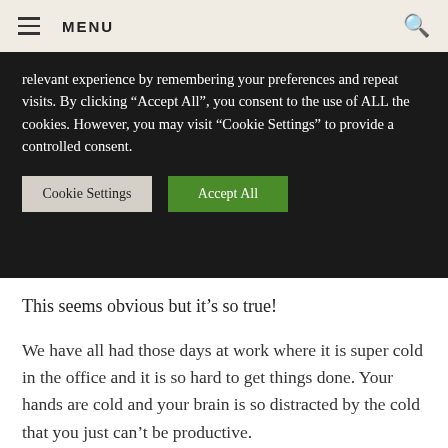MENU
relevant experience by remembering your preferences and repeat visits. By clicking "Accept All", you consent to the use of ALL the cookies. However, you may visit "Cookie Settings" to provide a controlled consent.
Cookie Settings | Accept All
This seems obvious but it’s so true!
We have all had those days at work where it is super cold in the office and it is so hard to get things done. Your hands are cold and your brain is so distracted by the cold that you just can’t be productive.
So grab a safe space heater and make sure you can stay warm enough to stay productive!